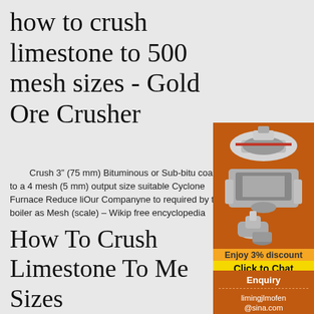how to crush limestone to 500 mesh sizes - Gold Ore Crusher
Crush 3” (75 mm) Bituminous or Sub-bitu coals to a 4 mesh (5 mm) output size suitable Cyclone Furnace Reduce liOur Companyne to required by the boiler as Mesh (scale) – Wikip free encyclopedia
[Figure (photo): Industrial mining/crushing machines displayed on an orange background with a '3% discount' banner and 'Click to Chat' button below]
How To Crush Limestone To Me Sizes